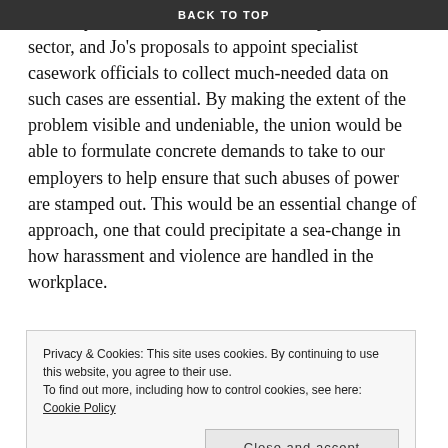BACK TO TOP
seriously under-researched and under-reported in our sector, and Jo's proposals to appoint specialist casework officials to collect much-needed data on such cases are essential. By making the extent of the problem visible and undeniable, the union would be able to formulate concrete demands to take to our employers to help ensure that such abuses of power are stamped out. This would be an essential change of approach, one that could precipitate a sea-change in how harassment and violence are handled in the workplace.
Jo is also very clear, however, that these issues must be tackled within the union as well as in the workplace, reviewing internal procedures to ensure that complaints
Privacy & Cookies: This site uses cookies. By continuing to use this website, you agree to their use.
To find out more, including how to control cookies, see here: Cookie Policy
through prevention and support. We need decisive action